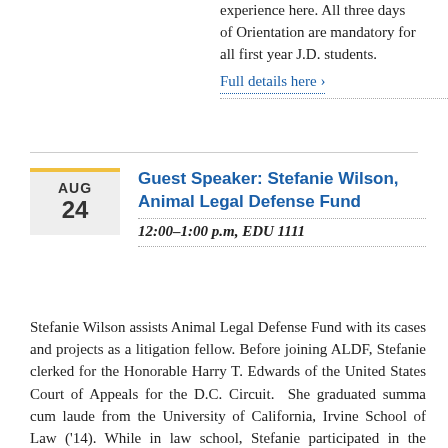experience here. All three days of Orientation are mandatory for all first year J.D. students.
Full details here ›
AUG 24
Guest Speaker: Stefanie Wilson, Animal Legal Defense Fund
12:00–1:00 p.m, EDU 1111
Stefanie Wilson assists Animal Legal Defense Fund with its cases and projects as a litigation fellow. Before joining ALDF, Stefanie clerked for the Honorable Harry T. Edwards of the United States Court of Appeals for the D.C. Circuit.  She graduated summa cum laude from the University of California, Irvine School of Law ('14). While in law school, Stefanie participated in the National Animal Law Moot Court Competition and was founder and president of its Student Animal Legal Defense